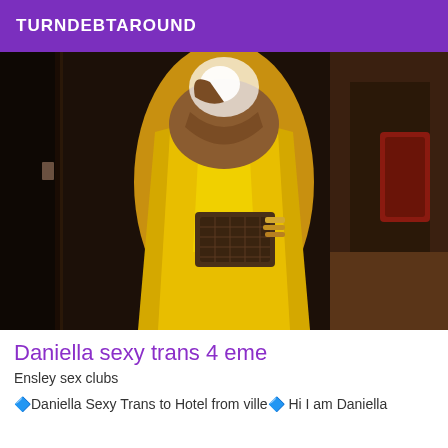TURNDEBTAROUND
[Figure (photo): A person wearing a yellow bodycon dress taking a mirror selfie, holding a designer handbag.]
Daniella sexy trans 4 eme
Ensley sex clubs
🔷Daniella Sexy Trans to Hotel from ville🔷 Hi I am Daniella